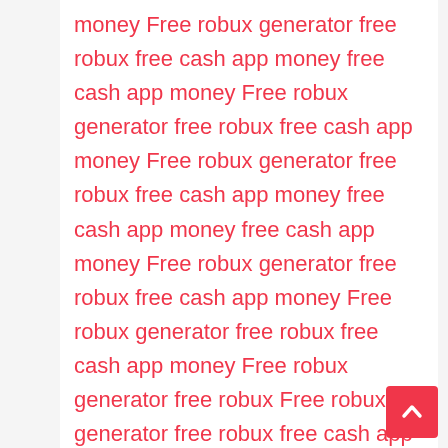money Free robux generator free robux free cash app money free cash app money Free robux generator free robux free cash app money Free robux generator free robux free cash app money free cash app money free cash app money Free robux generator free robux free cash app money Free robux generator free robux free cash app money Free robux generator free robux Free robux generator free robux free cash app money Free robux generator free robux Free robux generator free robux free cash app money Free robux generator free robux Free robux generator free robux Free robux generator free robux nhl nhl nhl